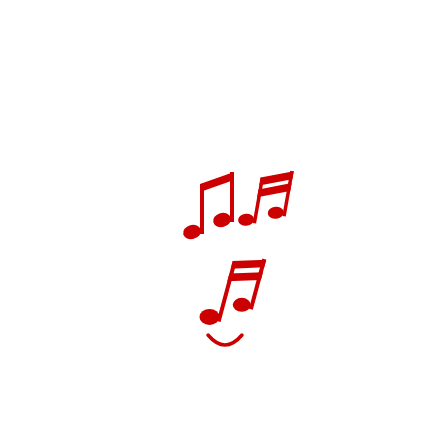[Figure (illustration): Red music notes (eighth notes and sixteenth notes) scattered and floating upward, with a small red curved smile/arc below them, all on a white background.]